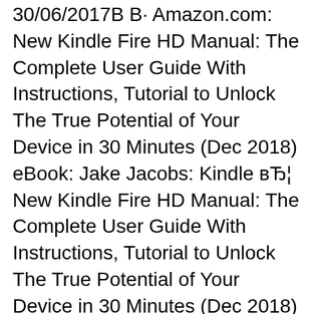30/06/2017В В· Amazon.com: New Kindle Fire HD Manual: The Complete User Guide With Instructions, Tutorial to Unlock The True Potential of Your Device in 30 Minutes (Dec 2018) eBook: Jake Jacobs: Kindle вЂ¦ New Kindle Fire HD Manual: The Complete User Guide With Instructions, Tutorial to Unlock The True Potential of Your Device in 30 Minutes (Dec 2018) by Jake Jacobs 3.8 out of 5 stars 142. Kindle вЂ¦
Kindle Fire Hd 7 User Manual Pdf.pdf - Free download Ebook, Handbook, Textbook, User Guide PDF files on the internet quickly and easily. 30/06/2017В В· Amazon.com: New Kindle Fire HD Manual: The Complete